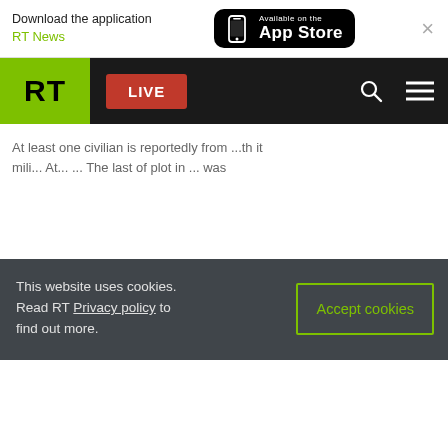Download the application RT News — Available on the App Store
[Figure (screenshot): RT website navigation bar with green RT logo, red LIVE button, search icon, and hamburger menu on black background]
Article text partially visible behind cookie overlay
This website uses cookies. Read RT Privacy policy to find out more.
Accept cookies